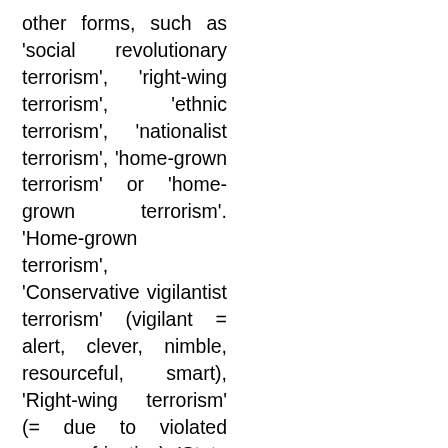other forms, such as 'social revolutionary terrorism', 'right-wing terrorism', 'ethnic terrorism', 'nationalist terrorism', 'home-grown terrorism' or 'home-grown terrorism'. 'Home-grown terrorism', 'Conservative vigilantist terrorism' (vigilant = alert, clever, nimble, resourceful, smart), 'Right-wing terrorism' (= due to violated sense of justice), 'State terrorism' and 'Eco-terrorism', whereby a